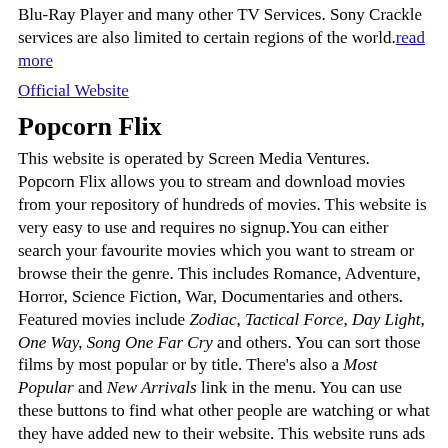Blu-Ray Player and many other TV Services. Sony Crackle services are also limited to certain regions of the world. read more
Official Website
Popcorn Flix
This website is operated by Screen Media Ventures. Popcorn Flix allows you to stream and download movies from your repository of hundreds of movies. This website is very easy to use and requires no signup.You can either search your favourite movies which you want to stream or browse their the genre. This includes Romance, Adventure, Horror, Science Fiction, War, Documentaries and others. Featured movies include Zodiac, Tactical Force, Day Light, One Way, Song One Far Cry and others. You can sort those films by most popular or by title. There's also a Most Popular and New Arrivals link in the menu. You can use these buttons to find what other people are watching or what they have added new to their website. This website runs ads but not very annoying. You will need to disable Your ad-blocker before watching or downloading movies from this website. Access to this website is restricted to a few regions due to copyright issues. You might need any VPN service to access this website. read more
Official Website